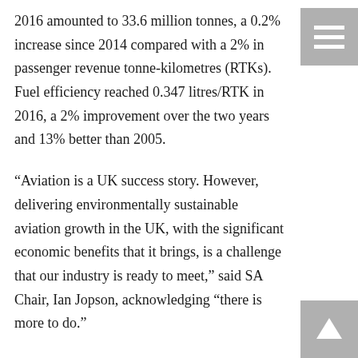2016 amounted to 33.6 million tonnes, a 0.2% increase since 2014 compared with a 2% in passenger revenue tonne-kilometres (RTKs). Fuel efficiency reached 0.347 litres/RTK in 2016, a 2% improvement over the two years and 13% better than 2005.
“Aviation is a UK success story. However, delivering environmentally sustainable aviation growth in the UK, with the significant economic benefits that it brings, is a challenge that our industry is ready to meet,” said SA Chair, Ian Jopson, acknowledging “there is more to do.”
Jopson, who is Head of Environment and Community Affairs at air navigation services